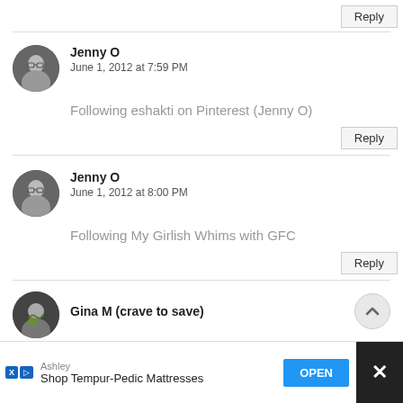Reply (button, top)
[Figure (photo): Black and white circular avatar photo of Jenny O]
Jenny O
June 1, 2012 at 7:59 PM
Following eshakti on Pinterest (Jenny O)
Reply (button)
[Figure (photo): Black and white circular avatar photo of Jenny O]
Jenny O
June 1, 2012 at 8:00 PM
Following My Girlish Whims with GFC
Reply (button)
[Figure (photo): Circular avatar photo of Gina M (crave to save), partly visible]
Gina M (crave to save)
Ashley — Shop Tempur-Pedic Mattresses — OPEN (advertisement)